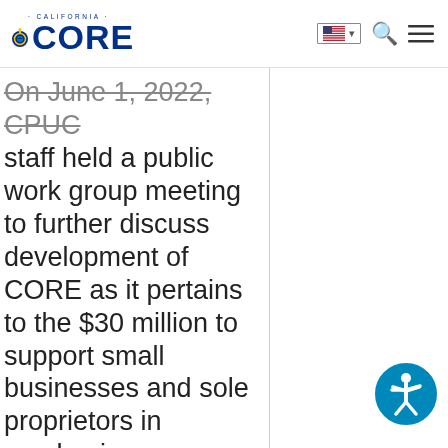California CORE
On June 1, 2022, CPUC staff held a public work group meeting to further discuss development of CORE as it pertains to the $30 million to support small businesses and sole proprietors in purchasing zero-emission, commercial grade landscaping equipment. The agenda for the